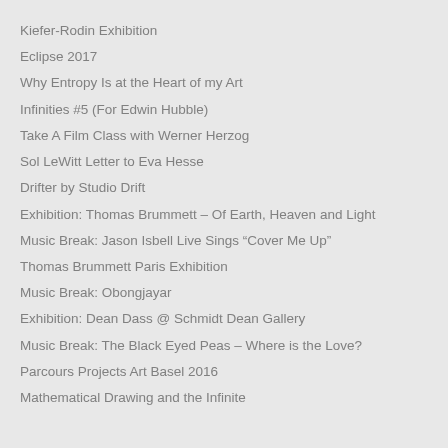Kiefer-Rodin Exhibition
Eclipse 2017
Why Entropy Is at the Heart of my Art
Infinities #5 (For Edwin Hubble)
Take A Film Class with Werner Herzog
Sol LeWitt Letter to Eva Hesse
Drifter by Studio Drift
Exhibition: Thomas Brummett – Of Earth, Heaven and Light
Music Break: Jason Isbell Live Sings “Cover Me Up”
Thomas Brummett Paris Exhibition
Music Break: Obongjayar
Exhibition: Dean Dass @ Schmidt Dean Gallery
Music Break: The Black Eyed Peas – Where is the Love?
Parcours Projects Art Basel 2016
Mathematical Drawing and the Infinite